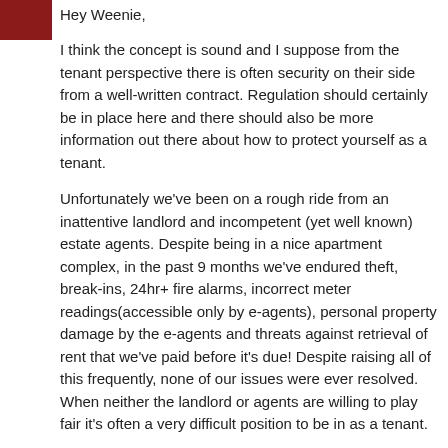[Figure (photo): Small square avatar image showing a person, reddish/dark tones]
Hey Weenie,
I think the concept is sound and I suppose from the tenant perspective there is often security on their side from a well-written contract. Regulation should certainly be in place here and there should also be more information out there about how to protect yourself as a tenant.
Unfortunately we've been on a rough ride from an inattentive landlord and incompetent (yet well known) estate agents. Despite being in a nice apartment complex, in the past 9 months we've endured theft, break-ins, 24hr+ fire alarms, incorrect meter readings(accessible only by e-agents), personal property damage by the e-agents and threats against retrieval of rent that we've paid before it's due! Despite raising all of this frequently, none of our issues were ever resolved. When neither the landlord or agents are willing to play fair it's often a very difficult position to be in as a tenant.